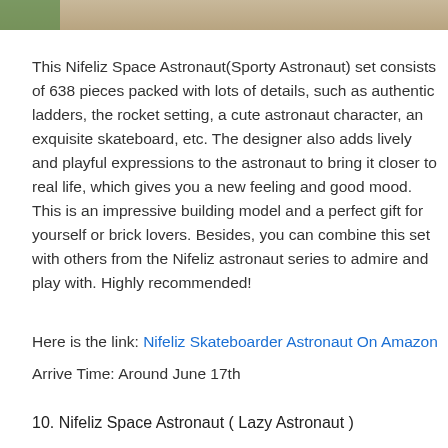[Figure (photo): Top partial image showing a wooden surface with green plant leaves on the left edge]
This Nifeliz Space Astronaut(Sporty Astronaut) set consists of 638 pieces packed with lots of details, such as authentic ladders, the rocket setting, a cute astronaut character, an exquisite skateboard, etc. The designer also adds lively and playful expressions to the astronaut to bring it closer to real life, which gives you a new feeling and good mood. This is an impressive building model and a perfect gift for yourself or brick lovers. Besides, you can combine this set with others from the Nifeliz astronaut series to admire and play with. Highly recommended!
Here is the link: Nifeliz Skateboarder Astronaut On Amazon
Arrive Time: Around June 17th
10. Nifeliz Space Astronaut ( Lazy Astronaut )